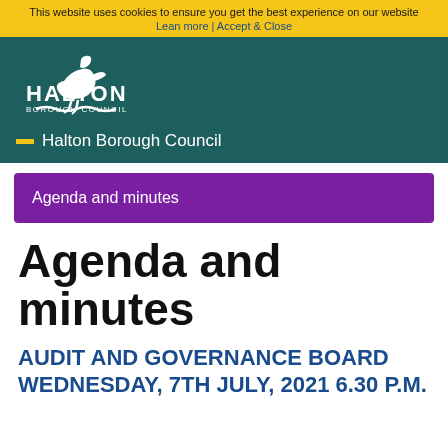This website uses cookies to ensure you get the best experience on our website
Lean more | Accept & Close
[Figure (logo): Halton Borough Council logo — white heron/wave mark with HALTON BOROUGH COUNCIL text on dark teal background]
Halton Borough Council
Agenda and minutes
Agenda and minutes
AUDIT AND GOVERNANCE BOARD WEDNESDAY, 7TH JULY, 2021 6.30 P.M.